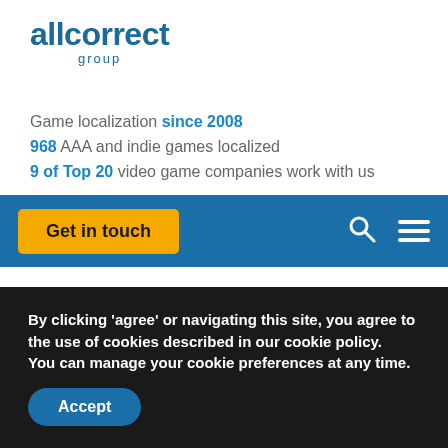[Figure (logo): allcorrect group logo in blue]
Game localization since 2008
968 AAA and indie games localized
9 of Top 20 video game companies work with us
[Figure (other): Navigation bar with Get in touch button, search icon, and hamburger menu on blue background]
GAME LOCALIZATION STUDIO
Localizing a game into the main languages increases its revenue
By clicking ‘agree’ or navigating this site, you agree to the use of cookies described in our cookie policy. You can manage your cookie preferences at any time.